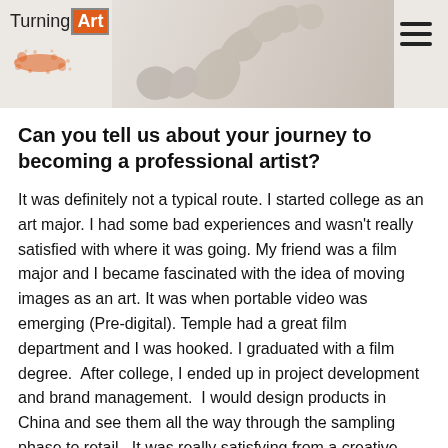TurningArt [logo with navigation image header]
Can you tell us about your journey to becoming a professional artist?
It was definitely not a typical route. I started college as an art major. I had some bad experiences and wasn't really satisfied with where it was going. My friend was a film major and I became fascinated with the idea of moving images as an art. It was when portable video was emerging (Pre-digital). Temple had a great film department and I was hooked. I graduated with a film degree.  After college, I ended up in project development and brand management.  I would design products in China and see them all the way through the sampling phase to retail.  It was really satisfying from a creative